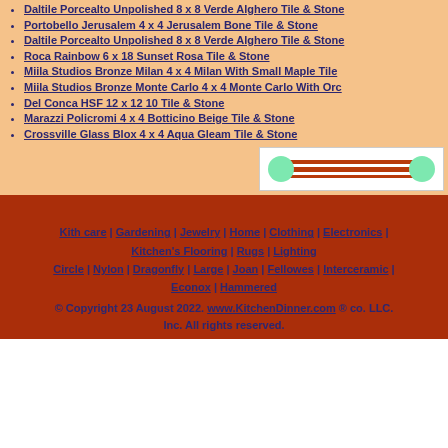Daltile Porcealto Unpolished 8 x 8 Verde Alghero Tile & Stone
Portobello Jerusalem 4 x 4 Jerusalem Bone Tile & Stone
Daltile Porcealto Unpolished 8 x 8 Verde Alghero Tile & Stone
Roca Rainbow 6 x 18 Sunset Rosa Tile & Stone
Miila Studios Bronze Milan 4 x 4 Milan With Small Maple Tile
Miila Studios Bronze Monte Carlo 4 x 4 Monte Carlo With Orc...
Del Conca HSF 12 x 12 10 Tile & Stone
Marazzi Policromi 4 x 4 Botticino Beige Tile & Stone
Crossville Glass Blox 4 x 4 Aqua Gleam Tile & Stone
[Figure (other): Navigation bar graphic with two green circles connected by a dark red/brown horizontal bar on a white background]
Kith care | Gardening | Jewelry | Home | Clothing | Electronics | Kitchen's Flooring | Rugs | Lighting
Circle | Nylon | Dragonfly | Large | Joan | Fellowes | Interceramic | Econox | Hammered
© Copyright 23 August 2022. www.KitchenDinner.com ® co. LLC. Inc. All rights reserved.